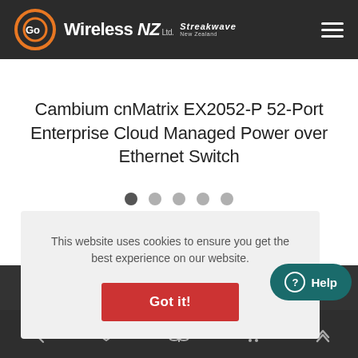Go Wireless NZ Ltd. Streakwave New Zealand
Cambium cnMatrix EX2052-P 52-Port Enterprise Cloud Managed Power over Ethernet Switch
[Figure (other): Carousel navigation dots: five dots, first one dark/active, others light gray]
This website uses cookies to ensure you get the best experience on our website.
Got it!
[Figure (other): Help button with question mark icon]
Bottom navigation bar with search, wishlist, compare, cart, and scroll-up icons